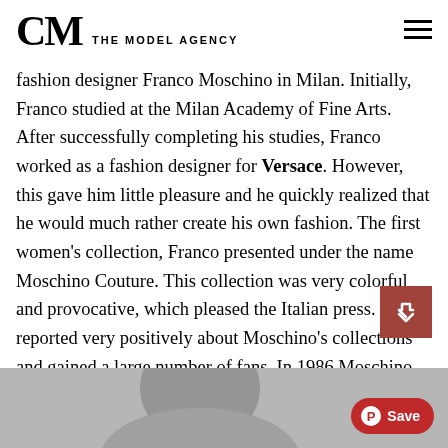CM THE MODEL AGENCY
fashion designer Franco Moschino in Milan. Initially, Franco studied at the Milan Academy of Fine Arts. After successfully completing his studies, Franco worked as a fashion designer for Versace. However, this gave him little pleasure and he quickly realized that he would much rather create his own fashion. The first women's collection, Franco presented under the name Moschino Couture. This collection was very colorful and provocative, which pleased the Italian press. They reported very positively about Moschino's collections and gained a large number of fans. In 1986 Moschino presented its first men's collection and two years later opened its first boutique in Milan.
[Figure (photo): Black and white photo partially visible at the bottom of the page, with a red Pinterest Save button overlay]